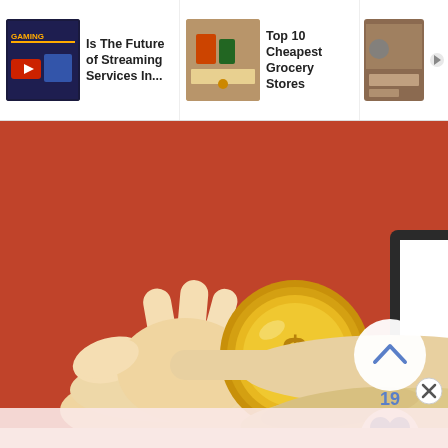Is The Future of Streaming Services In... | Top 10 Cheapest Grocery Stores | 10... A... S...
[Figure (illustration): A web page screenshot showing a navigation bar at top with three article thumbnails and titles: 'Is The Future of Streaming Services In...', 'Top 10 Cheapest Grocery Stores', and a partially visible third article. Below is a large illustration on a rust/terracotta red background showing a cartoon hand holding a gold dollar coin on the left, and a video player interface showing a YouTube-style logo on the right. The video player has a dark frame, a white playback area with a red play button icon, and a blue progress bar at the bottom. UI overlay elements include a white circular upvote button with a chevron up icon showing '19', a white circular heart/like button, and a blue circular search button with a magnifying glass icon. A light-colored hand extends from the lower right beneath the video player. At the very bottom is a partially visible pink/light advertisement bar with an X close button.]